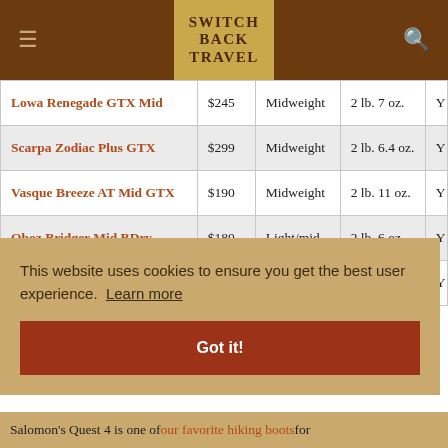SWITCH BACK TRAVEL
| Product | Price | Weight Category | Weight |  |
| --- | --- | --- | --- | --- |
| Lowa Renegade GTX Mid | $245 | Midweight | 2 lb. 7 oz. | Y |
| Scarpa Zodiac Plus GTX | $299 | Midweight | 2 lb. 6.4 oz. | Y |
| Vasque Breeze AT Mid GTX | $190 | Midweight | 2 lb. 11 oz. | Y |
| Oboz Bridger Mid BDry | $180 | Light/mid | 2 lb. 6 oz. | Y |
| ... | ... | ... | oz. | Y |
This website uses cookies to ensure you get the best user experience. Learn more
Got it!
Salomon's Quest 4 is one of our favorite hiking boots for